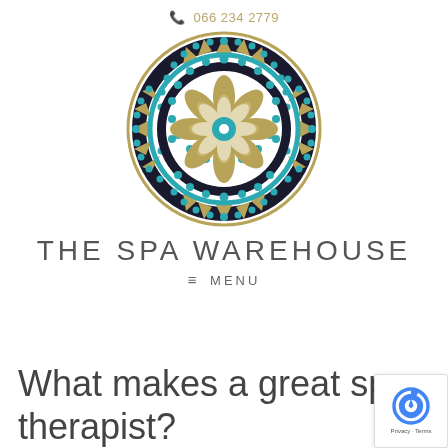066 234 2779
[Figure (logo): The Spa Warehouse circular mandala logo with gold geometric patterns, teal dots and circles, on white background]
THE SPA WAREHOUSE
≡ MENU
What makes a great spa therapist?